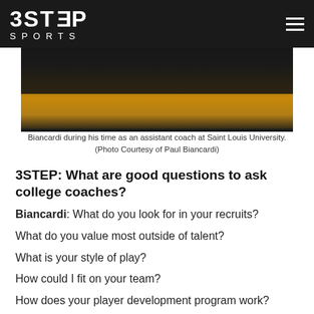3STEP SPORTS
[Figure (photo): Basketball court photo showing players' feet and legs on a hardwood court, taken from a low angle during a game at Saint Louis University.]
Biancardi during his time as an assistant coach at Saint Louis University. (Photo Courtesy of Paul Biancardi)
3STEP: What are good questions to ask college coaches?
Biancardi: What do you look for in your recruits?
What do you value most outside of talent?
What is your style of play?
How could I fit on your team?
How does your player development program work?
What type of support to you give your players off the court?
Academically, strength and conditioning wise, mental